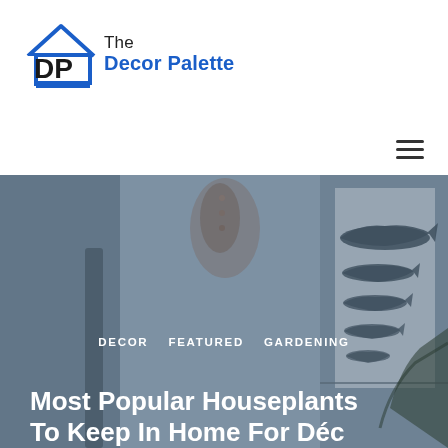[Figure (logo): The Decor Palette logo with house icon and blue text]
[Figure (other): Hamburger menu icon (three horizontal lines)]
[Figure (photo): Interior room photo with muted blue-grey tones, showing hanging items and wall art with whale/fish illustrations]
DECOR   FEATURED   GARDENING
Most Popular Houseplants To Keep In Home For Décor